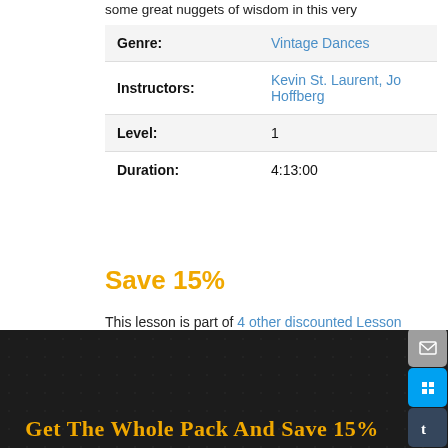some great nuggets of wisdom in this very thorough study.
| Field | Value |
| --- | --- |
| Genre: | Vintage Dances |
| Instructors: | Kevin St. Laurent, Jo Hoffberg |
| Level: | 1 |
| Duration: | 4:13:00 |
Save 15%
This lesson is part of 4 other discounted Lesson Packs. Grab the whole pack and this lesson will only cost $1.69.
Sign in to not see ads. It's free!
[Figure (other): Dark decorative footer banner with floral pattern and partially visible golden text reading 'Get The Whole Pack And Save 15%']